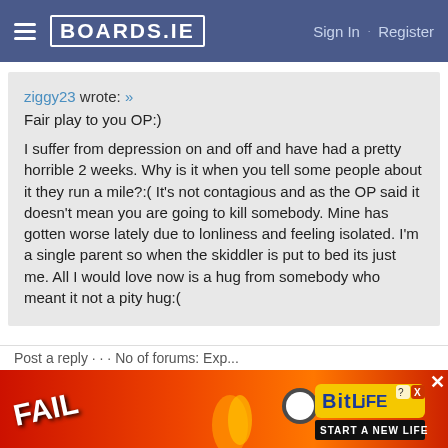BOARDS.IE   Sign In · Register
ziggy23 wrote: »
Fair play to you OP:)

I suffer from depression on and off and have had a pretty horrible 2 weeks. Why is it when you tell some people about it they run a mile?:( It's not contagious and as the OP said it doesn't mean you are going to kill somebody. Mine has gotten worse lately due to lonliness and feeling isolated. I'm a single parent so when the skiddler is put to bed its just me. All I would love now is a hug from somebody who meant it not a pity hug:(
[Figure (screenshot): Advertisement banner for BitLife game with FAIL text and 'START A NEW LIFE' call to action on red/orange background]